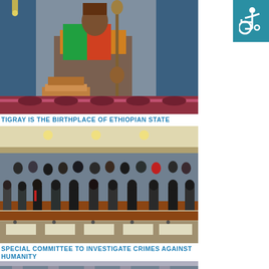[Figure (photo): Ethiopian Orthodox priest in traditional colorful robes and headdress holding ancient manuscripts and a ceremonial staff, standing in front of ornate church artifacts and blue doors.]
TIGRAY IS THE BIRTHPLACE OF ETHIOPIAN STATE
[Figure (photo): A large formal hall filled with people standing, appears to be a parliamentary or committee session with rows of wooden seats and people in formal attire including suits and traditional Ethiopian dress.]
SPECIAL COMMITTEE TO INVESTIGATE CRIMES AGAINST HUMANITY
[Figure (photo): Partial view of another scene showing the top portion of what appears to be another indoor gathering or building.]
[Figure (logo): Accessibility icon — white wheelchair symbol on teal/blue-green background in the top-right corner.]